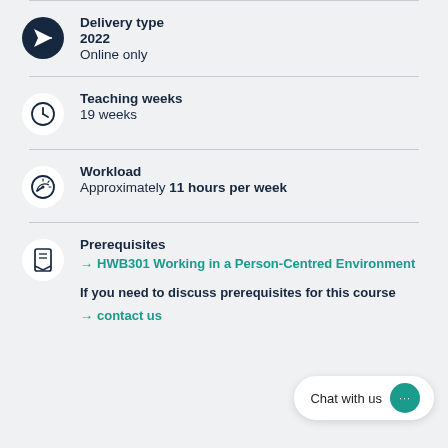Delivery type
2022
Online only
Teaching weeks
19 weeks
Workload
Approximately 11 hours per week
Prerequisites
→ HWB301 Working in a Person-Centred Environment
If you need to discuss prerequisites for this course
→ contact us